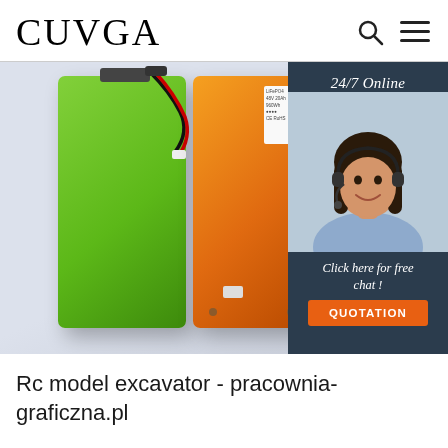CUVGA
[Figure (photo): Photo of green and orange rectangular battery packs with wires, overlaid with a customer service chat widget showing a woman with headset, '24/7 Online' text, 'Click here for free chat!' text, and an orange QUOTATION button.]
Rc model excavator - pracownia-graficzna.pl